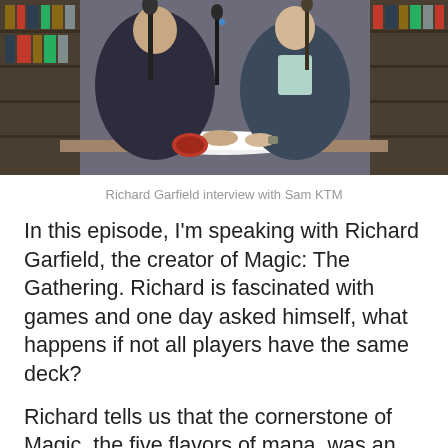[Figure (photo): Two men seated at a table with microphones in what appears to be a library or office setting with bookshelves in the background. They appear to be in an interview setup.]
Richard Garfield interview with Sam KTM
In this episode, I'm speaking with Richard Garfield, the creator of Magic: The Gathering. Richard is fascinated with games and one day asked himself, what happens if not all players have the same deck?
Richard tells us that the cornerstone of Magic, the five flavors of mana, was an idea that he thought about frequently and tinkered with in his other games.
Richard shares thoughts on certain cards, his hopes for